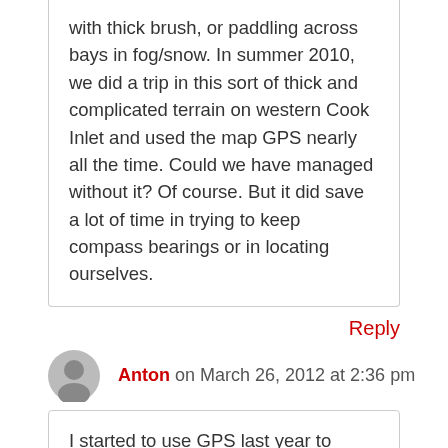with thick brush, or paddling across bays in fog/snow. In summer 2010, we did a trip in this sort of thick and complicated terrain on western Cook Inlet and used the map GPS nearly all the time. Could we have managed without it? Of course. But it did save a lot of time in trying to keep compass bearings or in locating ourselves.
Reply
Anton on March 26, 2012 at 2:36 pm
I started to use GPS last year to record my trips and share them with my friends, whose map navigation skills are poor. Now they can hike using my data. Of course, they do know basic map navigation, but using GPS is much more easier and quicker for